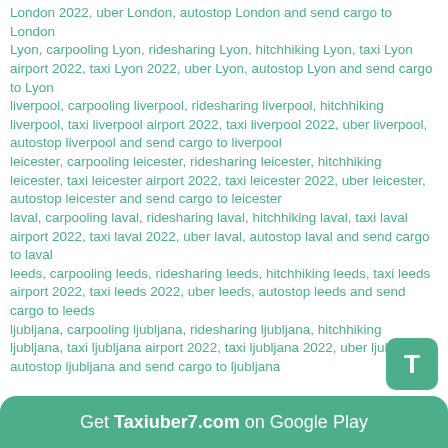London 2022, uber London, autostop London and send cargo to London
Lyon, carpooling Lyon, ridesharing Lyon, hitchhiking Lyon, taxi Lyon airport 2022, taxi Lyon 2022, uber Lyon, autostop Lyon and send cargo to Lyon
liverpool, carpooling liverpool, ridesharing liverpool, hitchhiking liverpool, taxi liverpool airport 2022, taxi liverpool 2022, uber liverpool, autostop liverpool and send cargo to liverpool
leicester, carpooling leicester, ridesharing leicester, hitchhiking leicester, taxi leicester airport 2022, taxi leicester 2022, uber leicester, autostop leicester and send cargo to leicester
laval, carpooling laval, ridesharing laval, hitchhiking laval, taxi laval airport 2022, taxi laval 2022, uber laval, autostop laval and send cargo to laval
leeds, carpooling leeds, ridesharing leeds, hitchhiking leeds, taxi leeds airport 2022, taxi leeds 2022, uber leeds, autostop leeds and send cargo to leeds
ljubljana, carpooling ljubljana, ridesharing ljubljana, hitchhiking ljubljana, taxi ljubljana airport 2022, taxi ljubljana 2022, uber ljubljana, autostop ljubljana and send cargo to ljubljana
T
Get Taxiuber7.com on Google Play